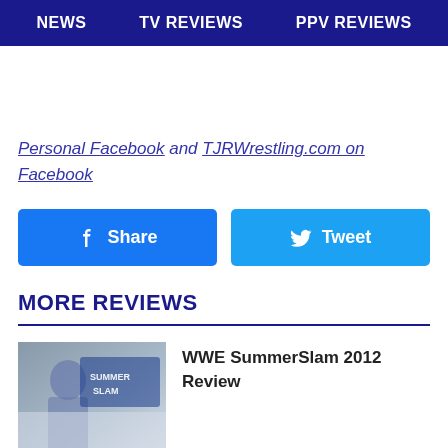NEWS | TV REVIEWS | PPV REVIEWS
Personal Facebook and TJRWrestling.com on Facebook
[Figure (other): Facebook Share button and Twitter Tweet button]
MORE REVIEWS
[Figure (photo): WWE SummerSlam 2012 thumbnail image showing a wrestler and the SummerSlam logo]
WWE SummerSlam 2012 Review